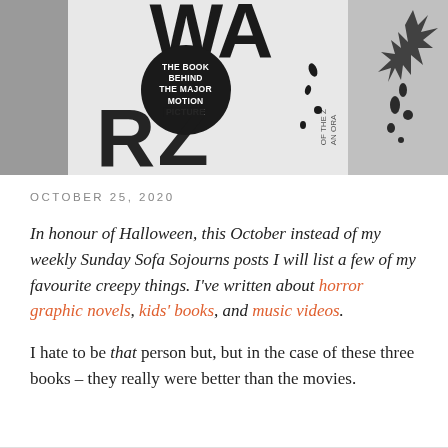[Figure (photo): Cropped book cover showing partial large text letters, a black circular badge reading 'THE BOOK BEHIND THE MAJOR MOTION PICTURE', partial text 'AN ORA OF THE Z', and ink splatter marks on a gray background to the right.]
OCTOBER 25, 2020
In honour of Halloween, this October instead of my weekly Sunday Sofa Sojourns posts I will list a few of my favourite creepy things. I’ve written about horror graphic novels, kids’ books, and music videos.
I hate to be that person but, but in the case of these three books – they really were better than the movies.